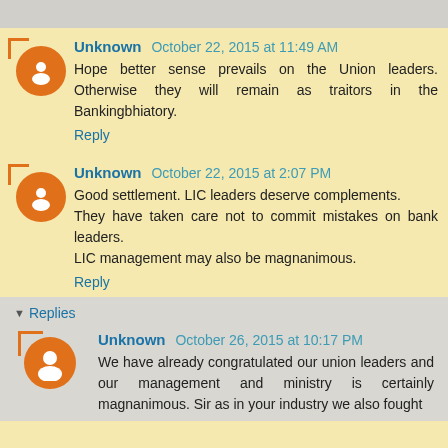Unknown October 22, 2015 at 11:49 AM
Hope better sense prevails on the Union leaders. Otherwise they will remain as traitors in the Bankingbhiatory.
Reply
Unknown October 22, 2015 at 2:07 PM
Good settlement. LIC leaders deserve complements. They have taken care not to commit mistakes on bank leaders. LIC management may also be magnanimous.
Reply
Replies
Unknown October 26, 2015 at 10:17 PM
We have already congratulated our union leaders and our management and ministry is certainly magnanimous. Sir as in your industry we also fought